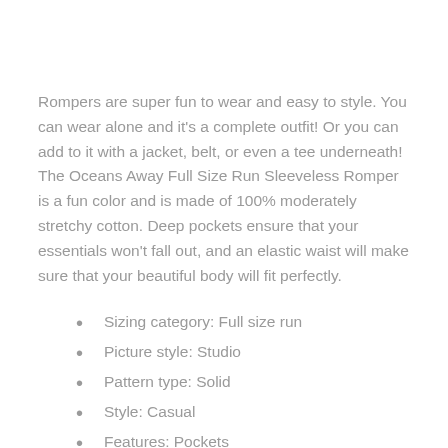Rompers are super fun to wear and easy to style. You can wear alone and it's a complete outfit! Or you can add to it with a jacket, belt, or even a tee underneath! The Oceans Away Full Size Run Sleeveless Romper is a fun color and is made of 100% moderately stretchy cotton. Deep pockets ensure that your essentials won't fall out, and an elastic waist will make sure that your beautiful body will fit perfectly.
Sizing category: Full size run
Picture style: Studio
Pattern type: Solid
Style: Casual
Features: Pockets
Neckline: V-neck